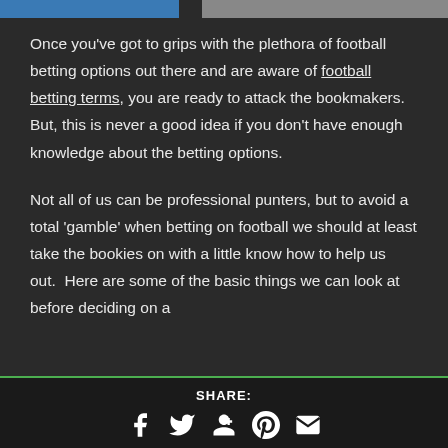[Figure (photo): Partial image strip at top of page showing cropped sports/football related images]
Once you've got to grips with the plethora of football betting options out there and are aware of football betting terms, you are ready to attack the bookmakers. But, this is never a good idea if you don't have enough knowledge about the betting options.
Not all of us can be professional punters, but to avoid a total 'gamble' when betting on football we should at least take the bookies on with a little know how to help us out.  Here are some of the basic things we can look at before deciding on a football bet.
SHARE: [Facebook] [Twitter] [Google+] [Pinterest] [Email]